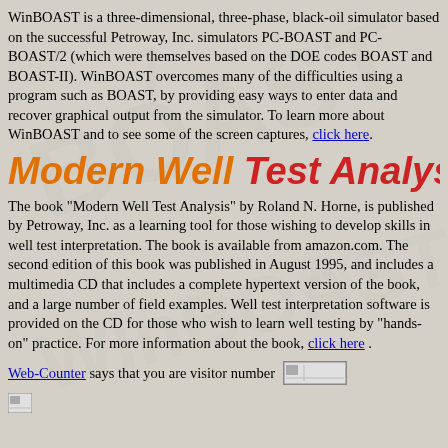WinBOAST is a three-dimensional, three-phase, black-oil simulator based on the successful Petroway, Inc. simulators PC-BOAST and PC-BOAST/2 (which were themselves based on the DOE codes BOAST and BOAST-II). WinBOAST overcomes many of the difficulties using a program such as BOAST, by providing easy ways to enter data and recover graphical output from the simulator. To learn more about WinBOAST and to see some of the screen captures, click here.
Modern Well Test Analysis
The book "Modern Well Test Analysis" by Roland N. Horne, is published by Petroway, Inc. as a learning tool for those wishing to develop skills in well test interpretation. The book is available from amazon.com. The second edition of this book was published in August 1995, and includes a multimedia CD that includes a complete hypertext version of the book, and a large number of field examples. Well test interpretation software is provided on the CD for those who wish to learn well testing by "hands-on" practice. For more information about the book, click here .
Web-Counter says that you are visitor number [image]